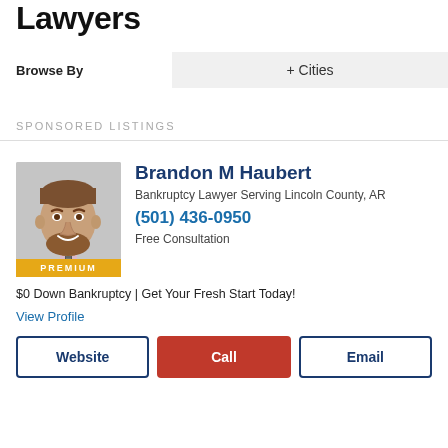Lawyers
Browse By
+ Cities
SPONSORED LISTINGS
[Figure (photo): Headshot of Brandon M Haubert, a man with brown beard wearing a grey suit with a striped tie, smiling.]
Brandon M Haubert
Bankruptcy Lawyer Serving Lincoln County, AR
(501) 436-0950
Free Consultation
$0 Down Bankruptcy | Get Your Fresh Start Today!
View Profile
Website
Call
Email